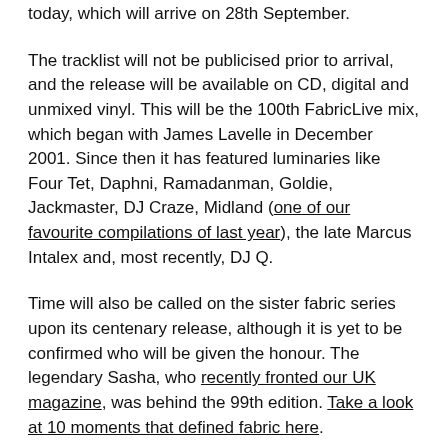today, which will arrive on 28th September.
The tracklist will not be publicised prior to arrival, and the release will be available on CD, digital and unmixed vinyl. This will be the 100th FabricLive mix, which began with James Lavelle in December 2001. Since then it has featured luminaries like Four Tet, Daphni, Ramadanman, Goldie, Jackmaster, DJ Craze, Midland (one of our favourite compilations of last year), the late Marcus Intalex and, most recently, DJ Q.
Time will also be called on the sister fabric series upon its centenary release, although it is yet to be confirmed who will be given the honour. The legendary Sasha, who recently fronted our UK magazine, was behind the 99th edition. Take a look at 10 moments that defined fabric here.